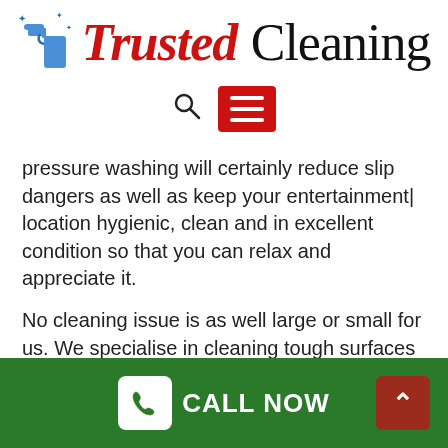[Figure (logo): Trusted Cleaning logo with spray bottle icon, 'Trusted' in red italic serif and 'Cleaning' in black serif]
[Figure (infographic): Navigation bar with search icon (magnifying glass) and red hamburger menu button]
pressure washing will certainly reduce slip dangers as well as keep your entertainment| location hygienic, clean and in excellent condition so that you can relax and appreciate it.
No cleaning issue is as well large or small for us. We specialise in cleaning tough surfaces and stains such as:
Difficult surface areas including natural rock and also terracotta.
Testing spots consisting of chewing gum as well as engine
[Figure (infographic): Green footer bar with white phone icon button, CALL NOW text in white, and dark red up-arrow button on the right]